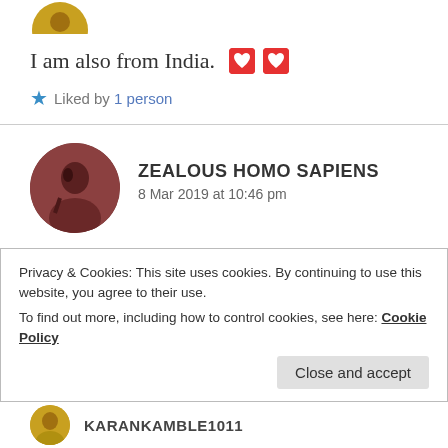[Figure (photo): Partial circular avatar image at top, cropped]
I am also from India. ❤️❤️
★ Liked by 1 person
[Figure (photo): Circular profile avatar of Zealous Homo Sapiens, dark reddish-brown tones]
ZEALOUS HOMO SAPIENS
8 Mar 2019 at 10:46 pm
Oh nice! Which city?
Privacy & Cookies: This site uses cookies. By continuing to use this website, you agree to their use.
To find out more, including how to control cookies, see here: Cookie Policy
Close and accept
KARANKAMBLE1011